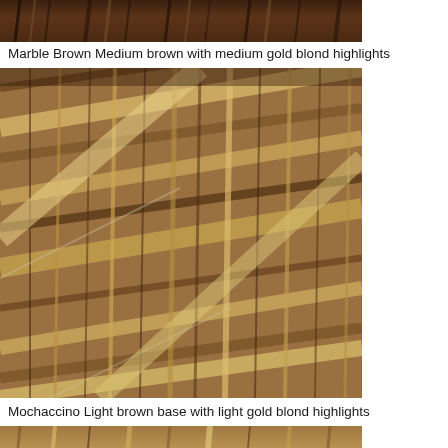[Figure (photo): Close-up photo of hair color swatch labeled Marble Brown, showing medium brown hair with medium gold blond highlights, partially visible at top of page]
Marble Brown Medium brown with medium gold blond highlights
[Figure (photo): Close-up photo of hair color swatch labeled Marble Brown, showing medium brown hair with medium gold blond highlights - full swatch view]
Mochaccino Light brown base with light gold blond highlights
[Figure (photo): Close-up photo of hair color swatch labeled Mochaccino, showing light brown base with light gold blond highlights, partially visible at bottom of page]